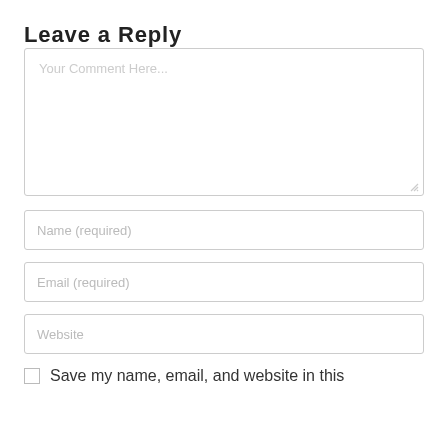Leave a Reply
[Figure (screenshot): Comment textarea input box with placeholder text 'Your Comment Here...']
[Figure (screenshot): Name text input box with placeholder 'Name (required)']
[Figure (screenshot): Email text input box with placeholder 'Email (required)']
[Figure (screenshot): Website text input box with placeholder 'Website']
Save my name, email, and website in this